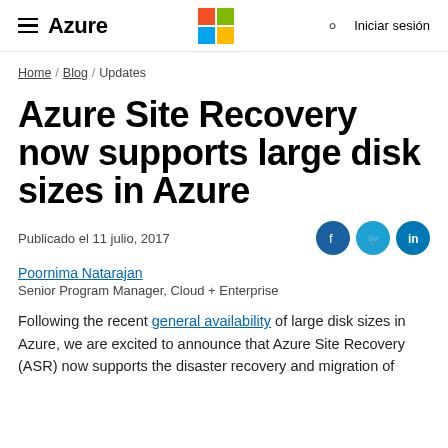≡ Azure | Microsoft logo | 🔍 | Iniciar sesión
Home / Blog / Updates
Azure Site Recovery now supports large disk sizes in Azure
Publicado el 11 julio, 2017
Poornima Natarajan
Senior Program Manager, Cloud + Enterprise
Following the recent general availability of large disk sizes in Azure, we are excited to announce that Azure Site Recovery (ASR) now supports the disaster recovery and migration of